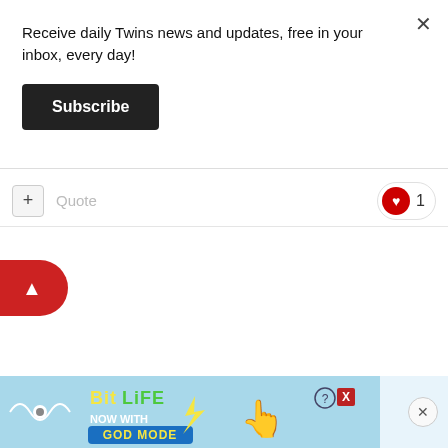Receive daily Twins news and updates, free in your inbox, every day!
Subscribe
Quote
1
[Figure (other): Red scroll-to-top arrow button on left edge]
[Figure (other): BitLife advertisement banner: NOW WITH GOD MODE]